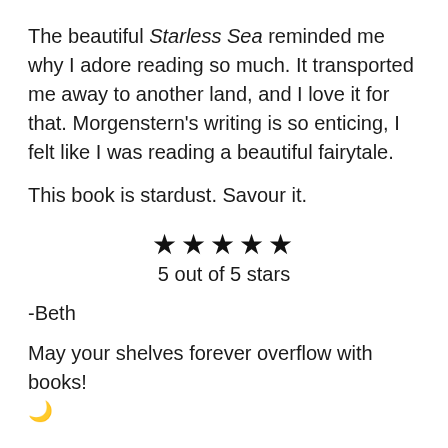The beautiful Starless Sea reminded me why I adore reading so much. It transported me away to another land, and I love it for that. Morgenstern's writing is so enticing, I felt like I was reading a beautiful fairytale.
This book is stardust. Savour it.
[Figure (other): Five filled stars rating symbol]
5 out of 5 stars
-Beth
May your shelves forever overflow with books! ☽